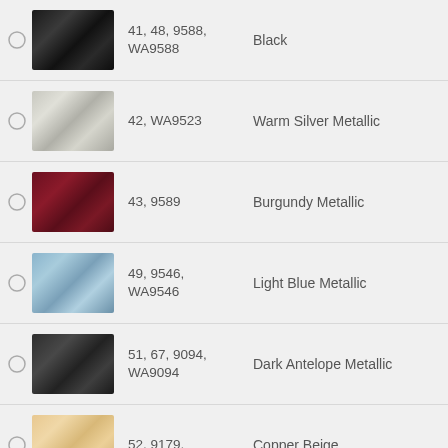41, 48, 9588, WA9588 — Black
42, WA9523 — Warm Silver Metallic
43, 9589 — Burgundy Metallic
49, 9546, WA9546 — Light Blue Metallic
51, 67, 9094, WA9094 — Dark Antelope Metallic
52, 9179, — Copper Beige